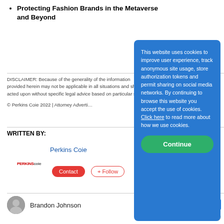Protecting Fashion Brands in the Metaverse and Beyond
DISCLAIMER: Because of the generality of the information provided herein may not be applicable in all situations and should not be acted upon without specific legal advice based on particular situations.
© Perkins Coie 2022 | Attorney Advertising
WRITTEN BY:
Perkins Coie
Contact  + Follow
[Figure (logo): Perkins Coie logo in red and grey text]
Brandon Johnson
This website uses cookies to improve user experience, track anonymous site usage, store authorization tokens and permit sharing on social media networks. By continuing to browse this website you accept the use of cookies. Click here to read more about how we use cookies.
Continue
Privacy · Terms